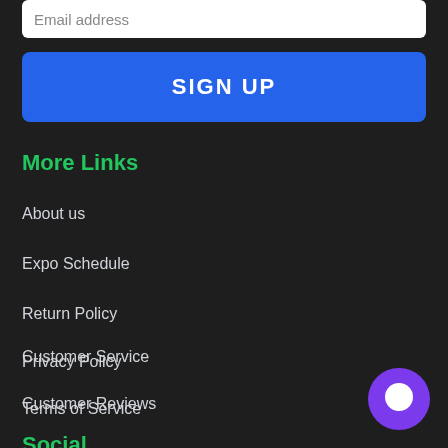Email address
SIGN UP
More Links
About us
Expo Schedule
Return Policy
Privacy Policy
Terms of Service
Customer Service
Customer Reviews
Social
[Figure (illustration): Purple circular chat bubble icon in bottom right corner]